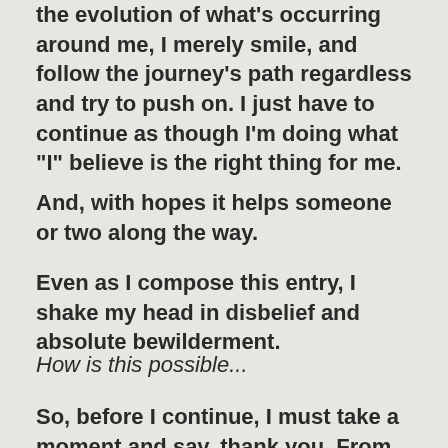the evolution of what's occurring around me, I merely smile, and follow the journey's path regardless and try to push on. I just have to continue as though I'm doing what "I" believe is the right thing for me.
And, with hopes it helps someone or two along the way.
Even as I compose this entry, I shake my head in disbelief and absolute bewilderment.
How is this possible...
So, before I continue, I must take a moment and say, thank you. From the bottom of my heart and soul. From the deepest places within me.